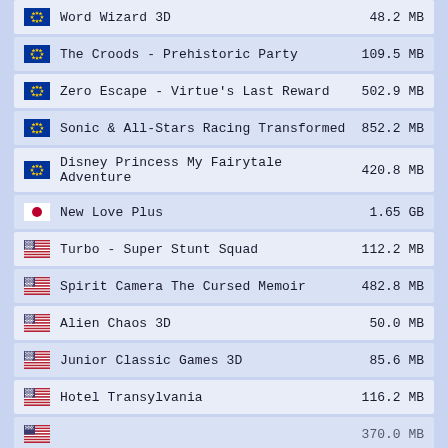Word Wizard 3D — 48.2 MB
The Croods - Prehistoric Party — 109.5 MB
Zero Escape - Virtue's Last Reward — 502.9 MB
Sonic & All-Stars Racing Transformed — 852.2 MB
Disney Princess My Fairytale Adventure — 420.8 MB
New Love Plus — 1.65 GB
Turbo - Super Stunt Squad — 112.2 MB
Spirit Camera The Cursed Memoir — 482.8 MB
Alien Chaos 3D — 50.0 MB
Junior Classic Games 3D — 85.6 MB
Hotel Transylvania — 116.2 MB
Unknown — 370.0 MB